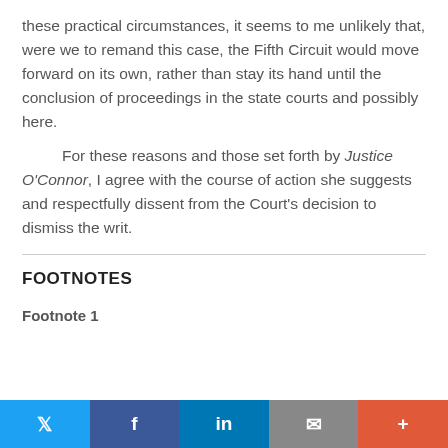these practical circumstances, it seems to me unlikely that, were we to remand this case, the Fifth Circuit would move forward on its own, rather than stay its hand until the conclusion of proceedings in the state courts and possibly here.
For these reasons and those set forth by Justice O'Connor, I agree with the course of action she suggests and respectfully dissent from the Court's decision to dismiss the writ.
FOOTNOTES
Footnote 1